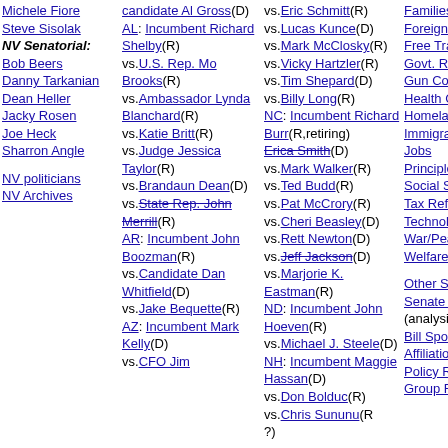Michele Fiore
Steve Sisolak
NV Senatorial: Bob Beers
Danny Tarkanian
Dean Heller
Jacky Rosen
Joe Heck
Sharron Angle
NV politicians
NV Archives
candidate Al Gross(D)
AL: Incumbent Richard Shelby(R)
vs.U.S. Rep. Mo Brooks(R)
vs.Ambassador Lynda Blanchard(R)
vs.Katie Britt(R)
vs.Judge Jessica Taylor(R)
vs.Brandaun Dean(D)
vs.State Rep. John Merrill(R)
AR: Incumbent John Boozman(R)
vs.Candidate Dan Whitfield(D)
vs.Jake Bequette(R)
AZ: Incumbent Mark Kelly(D)
vs.CFO Jim
vs.Eric Schmitt(R)
vs.Lucas Kunce(D)
vs.Mark McClosky(R)
vs.Vicky Hartzler(R)
vs.Tim Shepard(D)
vs.Billy Long(R)
NC: Incumbent Richard Burr(R,retiring)
Erica Smith(D)
vs.Mark Walker(R)
vs.Ted Budd(R)
vs.Pat McCrory(R)
vs.Cheri Beasley(D) vs.Rett Newton(D)
vs.Jeff Jackson(D)
vs.Marjorie K. Eastman(R)
ND: Incumbent John Hoeven(R)
vs.Michael J. Steele(D)
NH: Incumbent Maggie Hassan(D)
vs.Don Bolduc(R)
vs.Chris Sununu(R?)
Families
Foreign Policy
Free Trade
Govt. Reform
Gun Control
Health Care
Homeland Security
Immigration
Jobs
Principles
Social Security
Tax Reform
Technology
War/Peace
Welfare
Other Senators
Senate Votes (analysis)
Bill Sponsorships
Affiliations
Policy Reports
Group Ratings